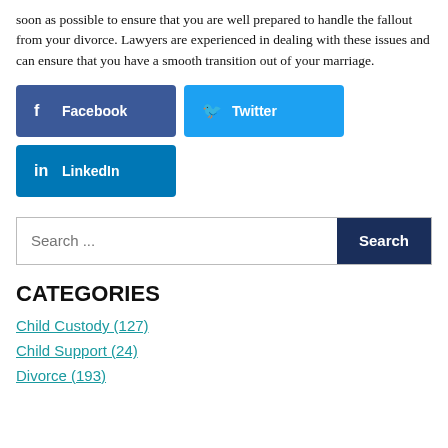soon as possible to ensure that you are well prepared to handle the fallout from your divorce. Lawyers are experienced in dealing with these issues and can ensure that you have a smooth transition out of your marriage.
[Figure (infographic): Social media sharing buttons: Facebook (dark blue), Twitter (light blue), LinkedIn (blue)]
[Figure (other): Search bar with placeholder 'Search ...' and a dark navy 'Search' button]
CATEGORIES
Child Custody (127)
Child Support (24)
Divorce (193)